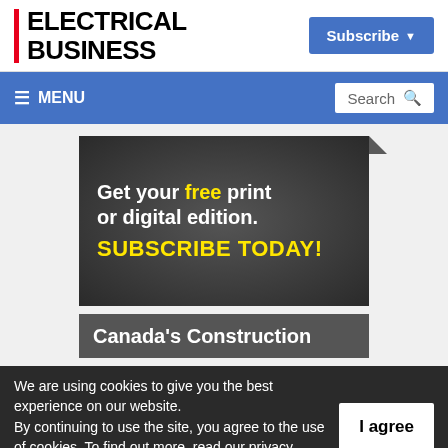ELECTRICAL BUSINESS
[Figure (screenshot): Subscribe button top right, blue background with dropdown arrow]
[Figure (screenshot): Navigation bar with hamburger MENU on left and Search box on right, blue background]
[Figure (illustration): Advertisement banner: 'Get your free print or digital edition. SUBSCRIBE TODAY!' on dark textured background]
[Figure (photo): Second banner partially visible showing 'Canada's Construction']
We are using cookies to give you the best experience on our website. By continuing to use the site, you agree to the use of cookies. To find out more, read our privacy policy.
[Figure (screenshot): I agree button, white background, bold black text]